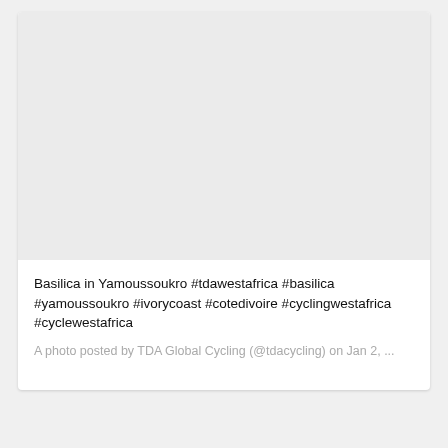[Figure (photo): Light grey placeholder image area representing a photo of the Basilica in Yamoussoukro]
Basilica in Yamoussoukro #tdawestafrica #basilica #yamoussoukro #ivorycoast #cotedivoire #cyclingwestafrica #cyclewestafrica
A photo posted by TDA Global Cycling (@tdacycling) on Jan 2, ...